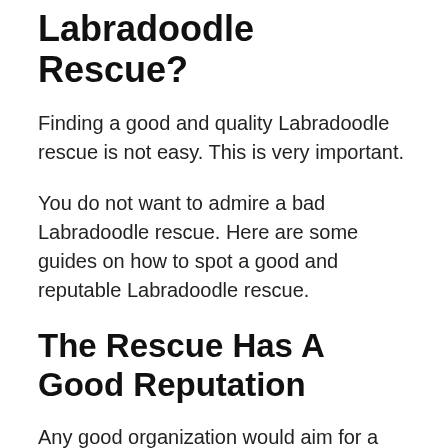Labradoodle Rescue?
Finding a good and quality Labradoodle rescue is not easy. This is very important.
You do not want to admire a bad Labradoodle rescue. Here are some guides on how to spot a good and reputable Labradoodle rescue.
The Rescue Has A Good Reputation
Any good organization would aim for a good reputation. With this, they will